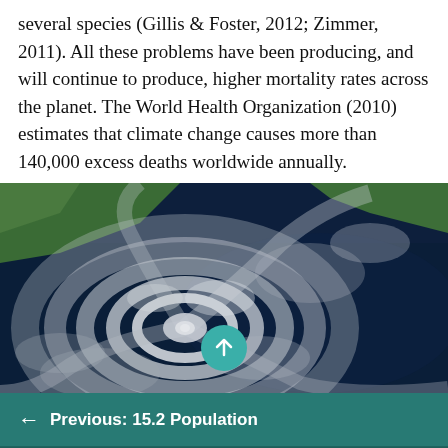several species (Gillis & Foster, 2012; Zimmer, 2011). All these problems have been producing, and will continue to produce, higher mortality rates across the planet. The World Health Organization (2010) estimates that climate change causes more than 140,000 excess deaths worldwide annually.
[Figure (photo): Satellite aerial photograph of a large hurricane/tropical cyclone over ocean, viewed from space. The eye of the storm is clearly visible on the lower-left side. Landmass (green) visible at top-left.]
← Previous: 15.2 Population
Next: 15.4 Addressing Population Problems and Improving the Environment →